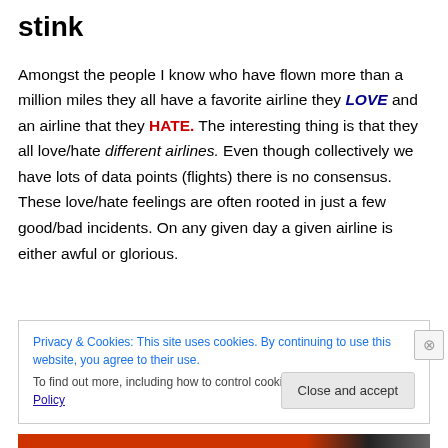stink
Amongst the people I know who have flown more than a million miles they all have a favorite airline they LOVE and an airline that they HATE. The interesting thing is that they all love/hate different airlines. Even though collectively we have lots of data points (flights) there is no consensus. These love/hate feelings are often rooted in just a few good/bad incidents. On any given day a given airline is either awful or glorious.
Privacy & Cookies: This site uses cookies. By continuing to use this website, you agree to their use.
To find out more, including how to control cookies, see here: Cookie Policy
Close and accept